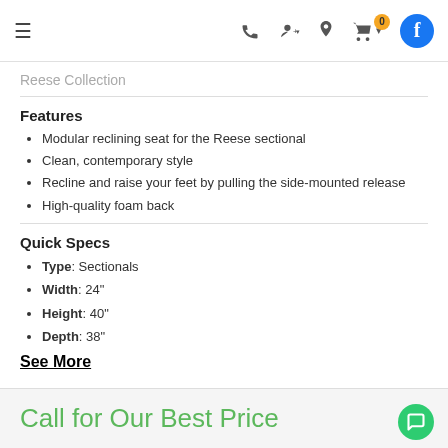≡  [phone] [user] [location] [cart: 0] [facebook]
Reese Collection
Features
Modular reclining seat for the Reese sectional
Clean, contemporary style
Recline and raise your feet by pulling the side-mounted release
High-quality foam back
Quick Specs
Type: Sectionals
Width: 24"
Height: 40"
Depth: 38"
See More
Call for Our Best Price